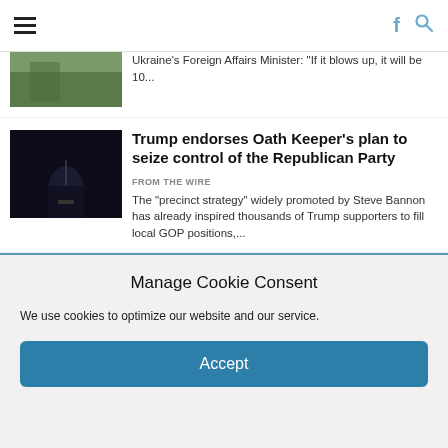Navigation bar with hamburger menu, Facebook icon, and Search icon
Ukraine's Foreign Affairs Minister: "If it blows up, it will be 10..."
Trump endorses Oath Keeper's plan to seize control of the Republican Party
FROM THE WIRE
The “precinct strategy” widely promoted by Steve Bannon has already inspired thousands of Trump supporters to fill local GOP positions,...
Nuclear disaster in Ukraine could make swaths of Europe ‘uninhabitable for decades’
FROM THE WIRE
Manage Cookie Consent
We use cookies to optimize our website and our service.
Accept